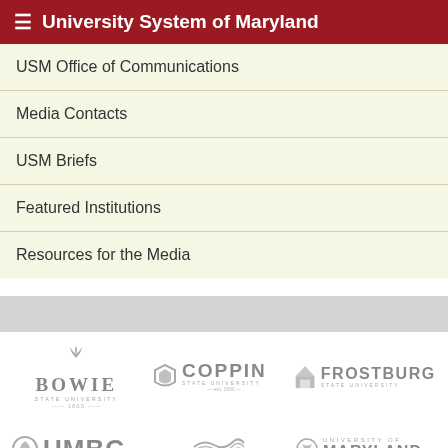University System of Maryland
USM Office of Communications
Media Contacts
USM Briefs
Featured Institutions
Resources for the Media
[Figure (logo): Bowie State University logo - grayscale]
[Figure (logo): Coppin State University logo - grayscale]
[Figure (logo): Frostburg State University logo - grayscale]
[Figure (logo): UMBC logo - grayscale]
[Figure (logo): University of Maryland Center for Environmental Science logo - grayscale]
[Figure (logo): University of Maryland logo - grayscale]